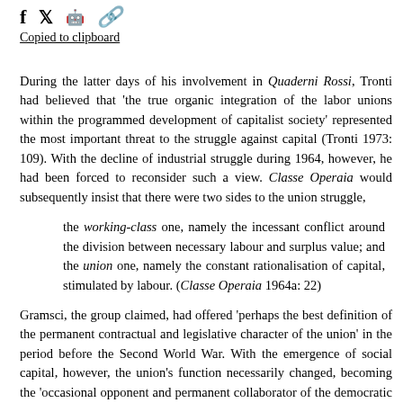Copied to clipboard
During the latter days of his involvement in Quaderni Rossi, Tronti had believed that 'the true organic integration of the labor unions within the programmed development of capitalist society' represented the most important threat to the struggle against capital (Tronti 1973: 109). With the decline of industrial struggle during 1964, however, he had been forced to reconsider such a view. Classe Operaia would subsequently insist that there were two sides to the union struggle,
the working-class one, namely the incessant conflict around the division between necessary labour and surplus value; and the union one, namely the constant rationalisation of capital, stimulated by labour. (Classe Operaia 1964a: 22)
Gramsci, the group claimed, had offered 'perhaps the best definition of the permanent contractual and legislative character of the union' in the period before the Second World War. With the emergence of social capital, however, the union's function necessarily changed, becoming the 'occasional opponent and permanent collaborator of the democratic structure of society'. As a consequence, any strategy of union 'autonomy' from the party,